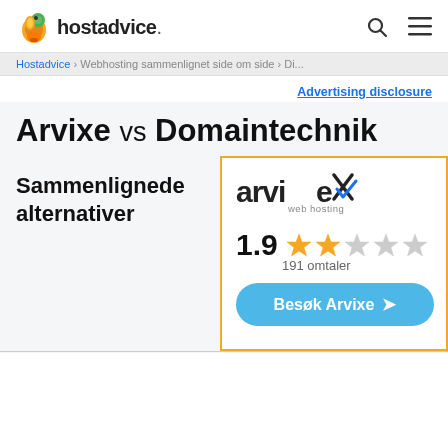hostadvice.
Hostadvice › Webhosting sammenlignet side om side › Di...
Advertising disclosure
Arvixe vs Domaintechnik
Sammenlignede alternativer
[Figure (logo): Arvixe web hosting logo]
1.9 191 omtaler
Besøk Arvixe